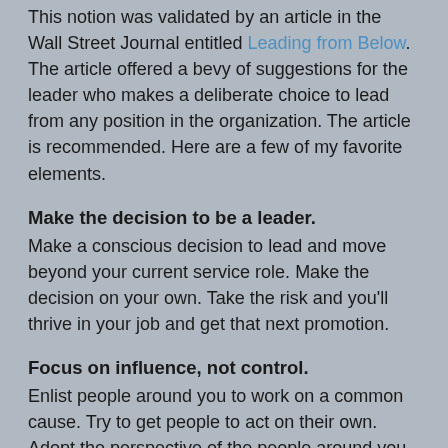This notion was validated by an article in the Wall Street Journal entitled Leading from Below. The article offered a bevy of suggestions for the leader who makes a deliberate choice to lead from any position in the organization. The article is recommended. Here are a few of my favorite elements.
Make the decision to be a leader.
Make a conscious decision to lead and move beyond your current service role. Make the decision on your own. Take the risk and you'll thrive in your job and get that next promotion.
Focus on influence, not control.
Enlist people around you to work on a common cause. Try to get people to act on their own. Adopt the perspective of the people around you. Don't hoard information. Share it. Keep things simple and clear and win the devotion of the people around you. Think influence not control.
Make your mental organizational chart horizontal rather than vertical.
Ignore any traditional organizational charts. View your